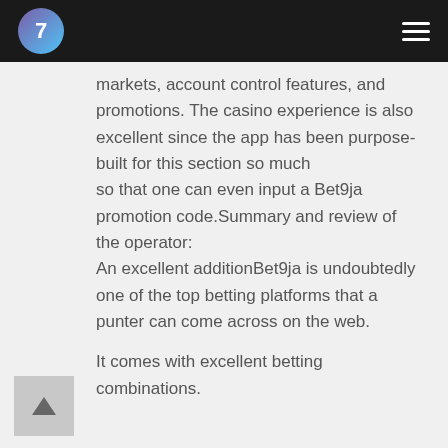7
markets, account control features, and promotions. The casino experience is also excellent since the app has been purpose-built for this section so much so that one can even input a Bet9ja promotion code.Summary and review of the operator: An excellent additionBet9ja is undoubtedly one of the top betting platforms that a punter can come across on the web.
It comes with excellent betting combinations.